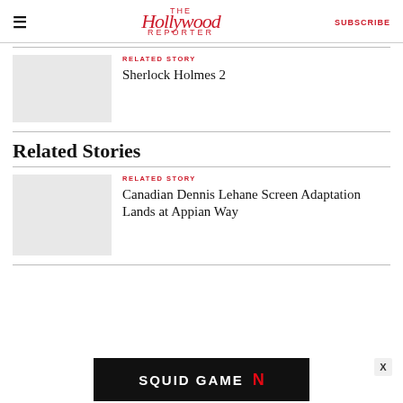The Hollywood Reporter | SUBSCRIBE
RELATED STORY
Sherlock Holmes 2
Related Stories
RELATED STORY
Canadian Dennis Lehane Screen Adaptation Lands at Appian Way
[Figure (other): Squid Game Netflix advertisement banner at bottom of page]